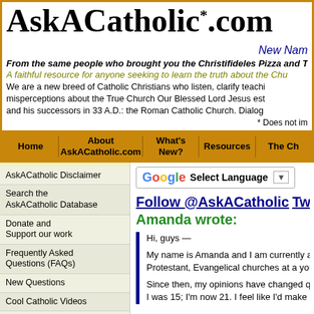AskACatholic.com* New Nam…
From the same people who brought you the Christifideles Pizza and Theo…
A faithful resource for anyone seeking to learn the truth about the Chu…
We are a new breed of Catholic Christians who listen, clarify teachi… misperceptions about the True Church Our Blessed Lord Jesus est… and his successors in 33 A.D.: the Roman Catholic Church. Dialog…
* Does not im…
Home | About AskACatholic.com | What's New? | Resources | The Ch…
AskACatholic Disclaimer
Search the AskACatholic Database
Donate and Support our work
Frequently Asked Questions (FAQs)
New Questions
Cool Catholic Videos
About Saints
Disciplines and Practices for distinct Church seasons
Purgatory and Indulgences
About the Holy Mass
[Figure (screenshot): Google Translate select language widget with G logo, 'Select Language' text, and dropdown arrow]
Follow @AskACatholic Tweet
Amanda wrote:
Hi, guys —

My name is Amanda and I am currently a co… Protestant, Evangelical churches at a young…

Since then, my opinions have changed quite… I was 15; I'm now 21. I feel like I'd make a ho…